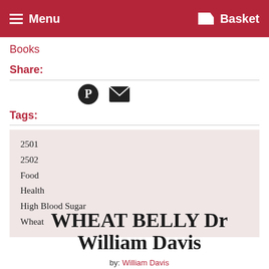Menu  Basket
Books
Share:
[Figure (infographic): Pinterest circle icon and mail envelope icon for sharing]
Tags:
2501
2502
Food
Health
High Blood Sugar
Wheat
WHEAT BELLY Dr William Davis
by: William Davis